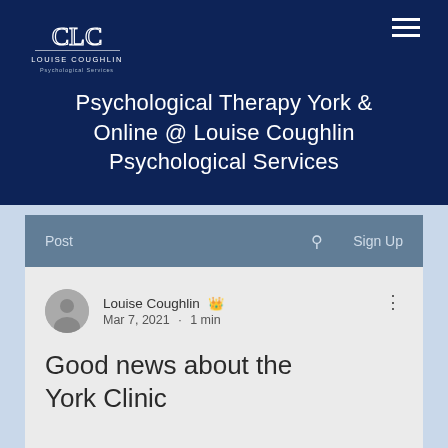[Figure (logo): Louise Coughlin Psychological Services logo — monogram CLC in white on dark navy background]
Psychological Therapy York & Online @ Louise Coughlin Psychological Services
Post  🔍  Sign Up
Louise Coughlin 👑
Mar 7, 2021 · 1 min
Good news about the York Clinic